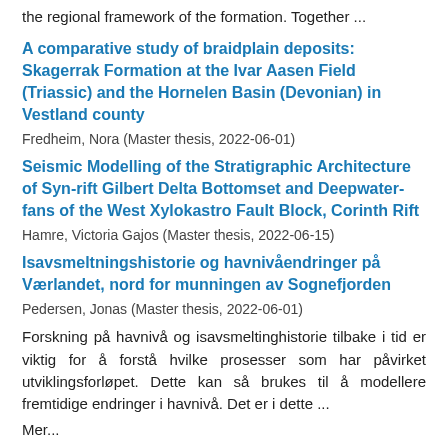the regional framework of the formation. Together ...
A comparative study of braidplain deposits: Skagerrak Formation at the Ivar Aasen Field (Triassic) and the Hornelen Basin (Devonian) in Vestland county
Fredheim, Nora (Master thesis, 2022-06-01)
Seismic Modelling of the Stratigraphic Architecture of Syn-rift Gilbert Delta Bottomset and Deepwater-fans of the West Xylokastro Fault Block, Corinth Rift
Hamre, Victoria Gajos (Master thesis, 2022-06-15)
Isavsmeltningshistorie og havnivåendringer på Værlandet, nord for munningen av Sognefjorden
Pedersen, Jonas (Master thesis, 2022-06-01)
Forskning på havnivå og isavsmeltinghistorie tilbake i tid er viktig for å forstå hvilke prosesser som har påvirket utviklingsforløpet. Dette kan så brukes til å modellere fremtidige endringer i havnivå. Det er i dette ...
Mer...